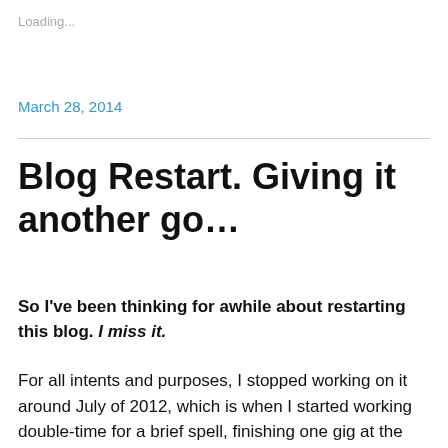Loading...
March 28, 2014
Blog Restart. Giving it another go…
So I've been thinking for awhile about restarting this blog. I miss it.
For all intents and purposes, I stopped working on it around July of 2012, which is when I started working double-time for a brief spell, finishing one gig at the same time I was starting a new one.